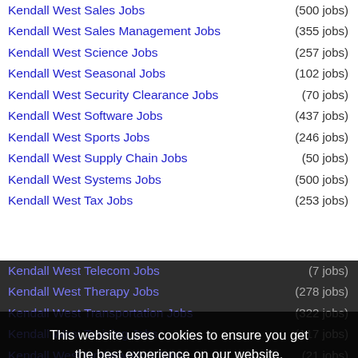Kendall West Sales Jobs (500 jobs)
Kendall West Sales Management Jobs (355 jobs)
Kendall West Science Jobs (257 jobs)
Kendall West Seasonal Jobs (102 jobs)
Kendall West Security Clearance Jobs (70 jobs)
Kendall West Software Jobs (437 jobs)
Kendall West Sports Jobs (246 jobs)
Kendall West Supply Chain Jobs (50 jobs)
Kendall West Systems Jobs (500 jobs)
Kendall West Tax Jobs (253 jobs)
Kendall West Telecom Jobs (7 jobs)
Kendall West Therapy Jobs (278 jobs)
Kendall West Transportation Jobs (322 jobs)
Kendall West Training Jobs (117 jobs)
Kendall West Underwriting Jobs (21 jobs)
Kendall West Warehouse Jobs (128 jobs)
Kendall West Wellness Jobs (335 jobs)
Kendall West Wireless Jobs (23 jobs)
Kendall West Work At Home Jobs (500 jobs)
This website uses cookies to ensure you get the best experience on our website. Learn more Got it!